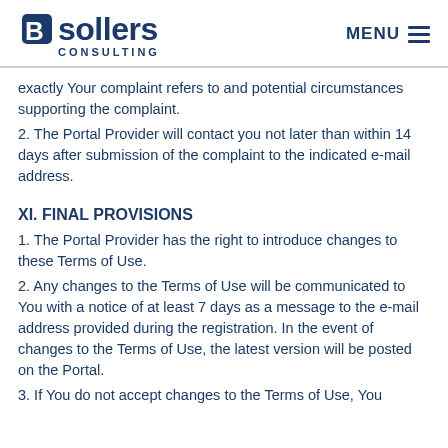Bsollers CONSULTING  MENU
exactly Your complaint refers to and potential circumstances supporting the complaint.
2. The Portal Provider will contact you not later than within 14 days after submission of the complaint to the indicated e-mail address.
XI. FINAL PROVISIONS
1. The Portal Provider has the right to introduce changes to these Terms of Use.
2. Any changes to the Terms of Use will be communicated to You with a notice of at least 7 days as a message to the e-mail address provided during the registration. In the event of changes to the Terms of Use, the latest version will be posted on the Portal.
3. If You do not accept changes to the Terms of Use, You